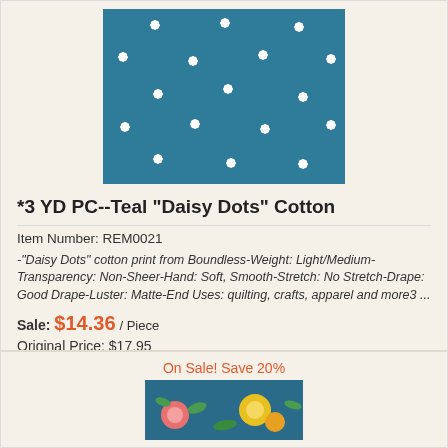[Figure (photo): Teal fabric with white daisy/flower dot pattern]
*3 YD PC--Teal "Daisy Dots" Cotton
Item Number: REM0021
-"Daisy Dots" cotton print from Boundless-Weight: Light/Medium-Transparency: Non-Sheer-Hand: Soft, Smooth-Stretch: No Stretch-Drape: Good Drape-Luster: Matte-End Uses: quilting, crafts, apparel and more3 ...
Sale: $14.36 / Piece
Original Price: $17.95
You Save: $3.59
On Sale! Save 20%
[Figure (photo): Teal fabric with colorful floral pattern (pink, yellow, green flowers)]